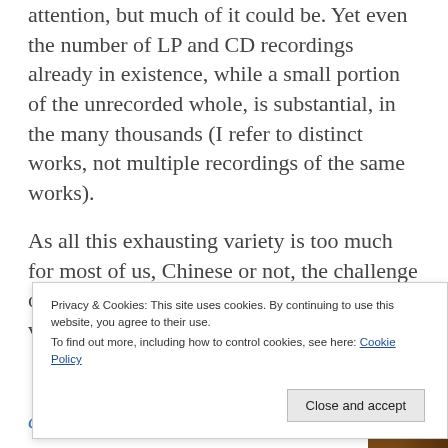attention, but much of it could be. Yet even the number of LP and CD recordings already in existence, while a small portion of the unrecorded whole, is substantial, in the many thousands (I refer to distinct works, not multiple recordings of the same works).
As all this exhausting variety is too much for most of us, Chinese or not, the challenge of music in China is merely a simpler version of
Privacy & Cookies: This site uses cookies. By continuing to use this website, you agree to their use.
To find out more, including how to control cookies, see here: Cookie Policy
Close and accept
contents):